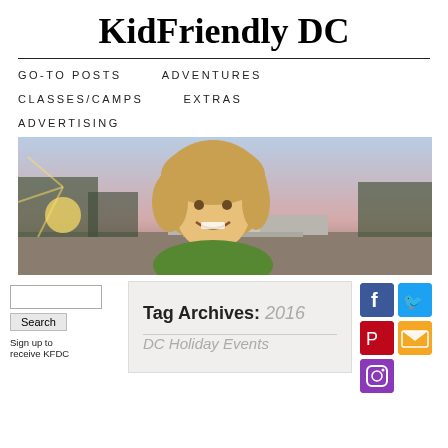KidFriendly DC
GO-TO POSTS   ADVENTURES   CLASSES/CAMPS   EXTRAS   ADVERTISING
[Figure (photo): A smiling young child with blonde hair in the foreground, with the US Capitol building visible in the background at dusk/sunset.]
Tag Archives: 2016 DC Holiday Events
Sign up to receive KFDC